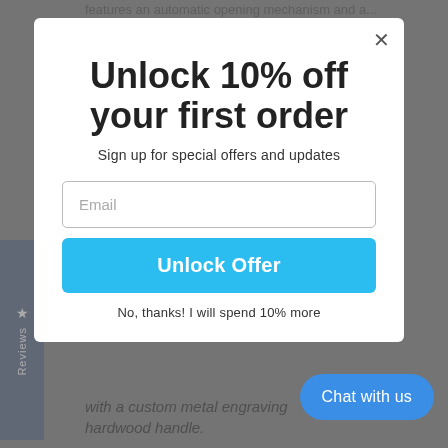features an automatic opening mechanism and a...
[Figure (screenshot): Reviews tab on left side of page with star icon and 'Reviews' text rotated vertically]
Unlock 10% off your first order
Sign up for special offers and updates
Email (input field placeholder)
Unlock Offer
No, thanks! I will spend 10% more
Chat with us
with a custom metal engraving __ hardwood handle.